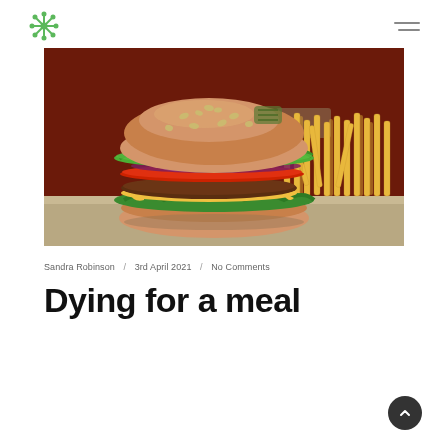Logo and navigation menu
[Figure (photo): A large cheeseburger with lettuce, tomato, onion, and cheese patty served alongside a pile of golden french fries, on a wooden surface with a dark red background.]
Sandra Robinson / 3rd April 2021 / No Comments
Dying for a meal